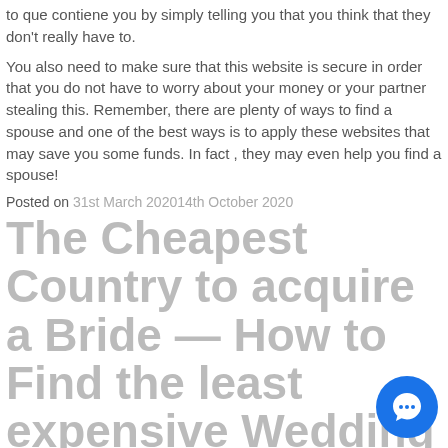to que contiene you by simply telling you that you think that they don't really have to.
You also need to make sure that this website is secure in order that you do not have to worry about your money or your partner stealing this. Remember, there are plenty of ways to find a spouse and one of the best ways is to apply these websites that may save you some funds. In fact , they may even help you find a spouse!
Posted on 31st March 202014th October 2020
The Cheapest Country to acquire a Bride — How to Find the least expensive Wedding Destination
If you are looking just for the cheapest country to obtain a bride, after that this article will help you. It will discuss why countries such